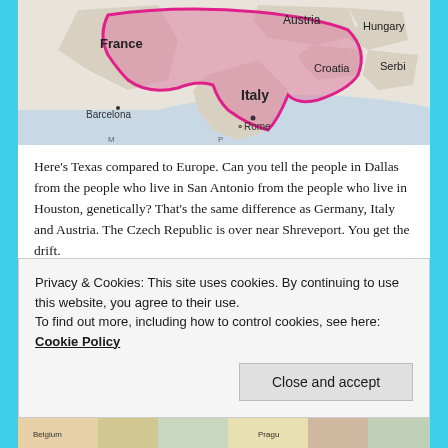[Figure (map): Map showing Texas outline (outlined in pink/magenta) overlaid on a map of Europe, showing countries France, Austria, Hungary, Croatia, Serbia, Italy with cities Barcelona, Rome labeled.]
Here's Texas compared to Europe. Can you tell the people in Dallas from the people who live in San Antonio from the people who live in Houston, genetically? That's the same difference as Germany, Italy and Austria. The Czech Republic is over near Shreveport. You get the drift.
Western European Countries are the Size of US States
Privacy & Cookies: This site uses cookies. By continuing to use this website, you agree to their use.
To find out more, including how to control cookies, see here: Cookie Policy
[Figure (map): Partial view of a colorful map of Europe at the bottom of the page, showing Belgium and other countries.]